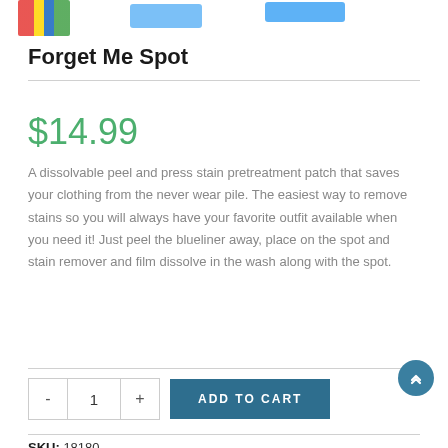[Figure (photo): Partial product images at top of page showing colorful fabric swatches and blue product patches]
Forget Me Spot
$14.99
A dissolvable peel and press stain pretreatment patch that saves your clothing from the never wear pile. The easiest way to remove stains so you will always have your favorite outfit available when you need it! Just peel the blueliner away, place on the spot and stain remover and film dissolve in the wash along with the spot.
SKU: 18180